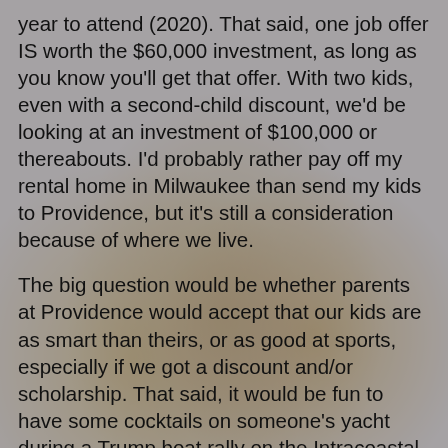year to attend (2020). That said, one job offer IS worth the $60,000 investment, as long as you know you'll get that offer. With two kids, even with a second-child discount, we'd be looking at an investment of $100,000 or thereabouts. I'd probably rather pay off my rental home in Milwaukee than send my kids to Providence, but it's still a consideration because of where we live.
The big question would be whether parents at Providence would accept that our kids are as smart than theirs, or as good at sports, especially if we got a discount and/or scholarship. That said, it would be fun to have some cocktails on someone's yacht during a Trump boat rally on the Intracoastal. Or for the kids to get invited to Switzerland for the summer. I talked to an obviously wealthy (private island) young man who did NOT attend Providence, and he used as his reasoning that he wasn't looking to go pro in sports and thought that the students there never experienced the real world. The problem with that assessment is that the real world can be kind of harsh, so I can see the allure of staying sheltered.